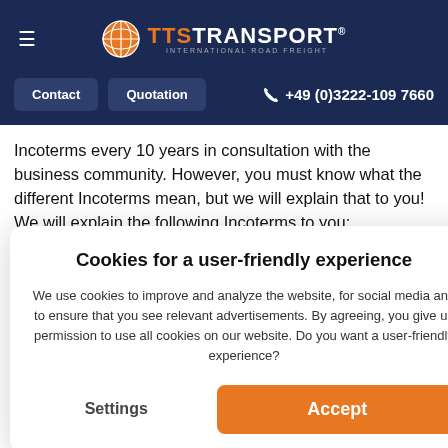TTS Transport International Road Freight
Contact   Quotation   +49 (0)3222-109 7660
Incoterms every 10 years in consultation with the business community. However, you must know what the different Incoterms mean, but we will explain that to you! We will explain the following Incoterms to you:
Cookies for a user-friendly experience
We use cookies to improve and analyze the website, for social media and to ensure that you see relevant advertisements. By agreeing, you give us permission to use all cookies on our website. Do you want a user-friendly experience?
Settings   Accept
• DDP (Delivered Duty Paid)